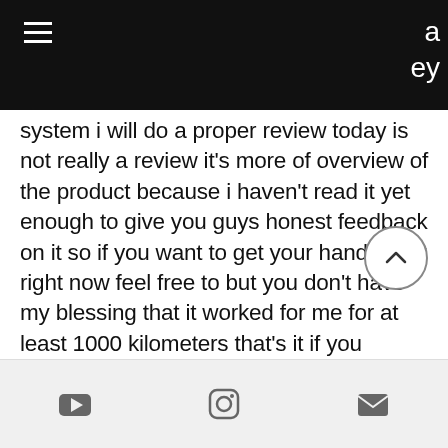a ey
system i will do a proper review today is not really a review it's more of overview of the product because i haven't read it yet enough to give you guys honest feedback on it so if you want to get your hands on it right now feel free to but you don't have my blessing that it worked for me for at least 1000 kilometers that's it if you enjoyed please leave a thumbs up it's always really appreciated subscribe if you aren't already i have a lot more cycling content coming next few weeks that you don't miss out alright my name is charles and i'll
[YouTube icon] [Instagram icon] [Email icon]